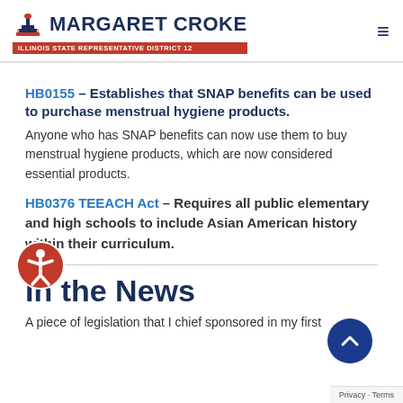MARGARET CROKE – ILLINOIS STATE REPRESENTATIVE DISTRICT 12
HB0155 – Establishes that SNAP benefits can be used to purchase menstrual hygiene products. Anyone who has SNAP benefits can now use them to buy menstrual hygiene products, which are now considered essential products.
HB0376 TEEACH Act – Requires all public elementary and high schools to include Asian American history within their curriculum.
In the News
A piece of legislation that I chief sponsored in my first